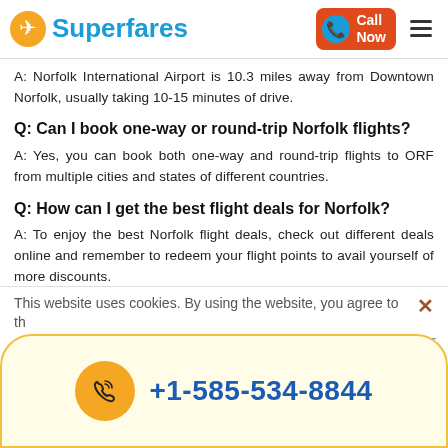Superfares — Call Now
A: Norfolk International Airport is 10.3 miles away from Downtown Norfolk, usually taking 10-15 minutes of drive.
Q: Can I book one-way or round-trip Norfolk flights?
A: Yes, you can book both one-way and round-trip flights to ORF from multiple cities and states of different countries.
Q: How can I get the best flight deals for Norfolk?
A: To enjoy the best Norfolk flight deals, check out different deals online and remember to redeem your flight points to avail yourself of more discounts.
This website uses cookies. By using the website, you agree to th...
+1-585-534-8844